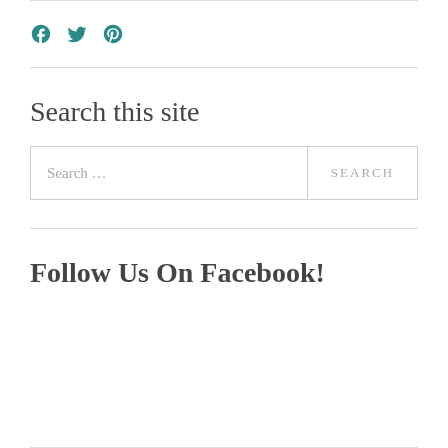[Figure (other): Social media icons: Facebook (f), Twitter (bird), Pinterest (p) in teal/dark cyan color]
Search this site
Search …   SEARCH
Follow Us On Facebook!